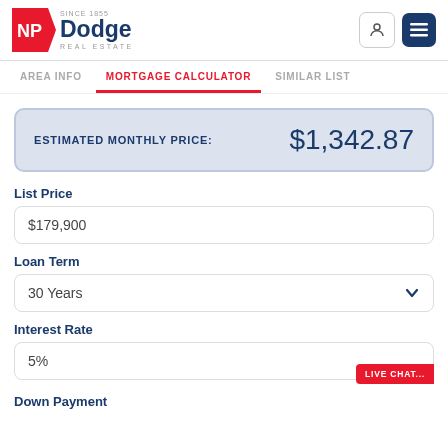NP Dodge Real Estate — Since 1855
AREA INFO | MORTGAGE CALCULATOR | SIMILAR LIST
ESTIMATED MONTHLY PRICE: $1,342.87
List Price
$179,900
Loan Term
30 Years
Interest Rate
5%
Down Payment